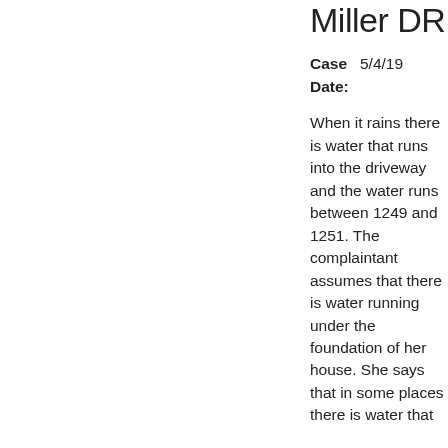Miller DR
Case Date: 5/4/19
When it rains there is water that runs into the driveway and the water runs between 1249 and 1251. The complaintant assumes that there is water running under the foundation of her house. She says that in some places there is water that